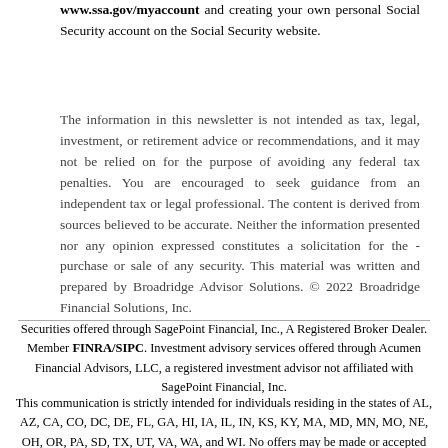www.ssa.gov/myaccount and creating your own personal Social Security account on the Social Security website.
The information in this newsletter is not intended as tax, legal, investment, or retirement advice or recommendations, and it may not be relied on for the purpose of avoiding any federal tax penalties. You are encouraged to seek guidance from an independent tax or legal professional. The content is derived from sources believed to be accurate. Neither the information presented nor any opinion expressed constitutes a solicitation for the purchase or sale of any security. This material was written and prepared by Broadridge Advisor Solutions. © 2022 Broadridge Financial Solutions, Inc.
Securities offered through SagePoint Financial, Inc., A Registered Broker Dealer. Member FINRA/SIPC. Investment advisory services offered through Acumen Financial Advisors, LLC, a registered investment advisor not affiliated with SagePoint Financial, Inc.
This communication is strictly intended for individuals residing in the states of AL, AZ, CA, CO, DC, DE, FL, GA, HI, IA, IL, IN, KS, KY, MA, MD, MN, MO, NE, OH, OR, PA, SD, TX, UT, VA, WA, and WI. No offers may be made or accepted